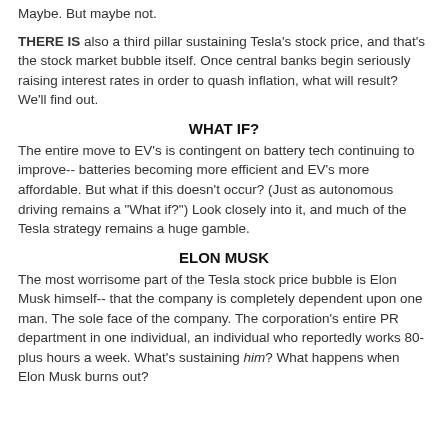Maybe. But maybe not.
THERE IS also a third pillar sustaining Tesla's stock price, and that's the stock market bubble itself. Once central banks begin seriously raising interest rates in order to quash inflation, what will result? We'll find out.
WHAT IF?
The entire move to EV's is contingent on battery tech continuing to improve-- batteries becoming more efficient and EV's more affordable. But what if this doesn't occur? (Just as autonomous driving remains a "What if?") Look closely into it, and much of the Tesla strategy remains a huge gamble.
ELON MUSK
The most worrisome part of the Tesla stock price bubble is Elon Musk himself-- that the company is completely dependent upon one man. The sole face of the company. The corporation's entire PR department in one individual, an individual who reportedly works 80-plus hours a week. What's sustaining him? What happens when Elon Musk burns out?